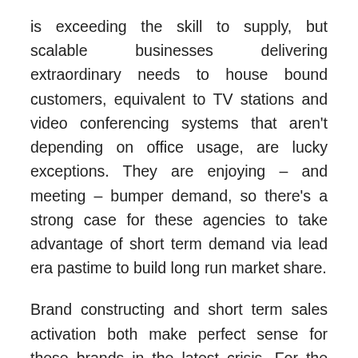is exceeding the skill to supply, but scalable businesses delivering extraordinary needs to house bound customers, equivalent to TV stations and video conferencing systems that aren't depending on office usage, are lucky exceptions. They are enjoying – and meeting – bumper demand, so there's a strong case for these agencies to take advantage of short term demand via lead era pastime to build long run market share.
Brand constructing and short term sales activation both make perfect sense for these brands in the latest crisis. For the various brands that are unable to fulfill demand, even though, significant use of short term sales activation would make little sense. But for them, does brand constructing at such a